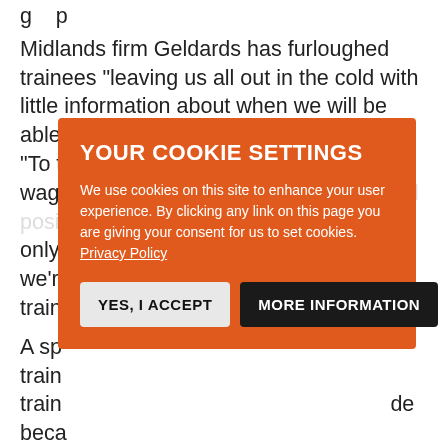Midlands firm Geldards has furloughed trainees "leaving us all out in the cold with little information about when we will be able to qualify and no support", said one. "To top it off they are not topping our wages up, leaving us in a difficult financial position. We are only [receiving 80% of our salary] now we're [partially visible] train[ees]
[Figure (other): Cookie consent overlay on orange background with title 'YOUR COOKIE SETTINGS', body text about cookies and privacy policy link, and two buttons: 'YES, I ACCEPT' and 'MORE INFORMATION']
level of supervision required for all the trainees". He added that the "immediate reduction in work that is occurring in all law firms and businesses at present" meant there was insufficient work to keep trainees sufficiently occupied. He said the trainees and all